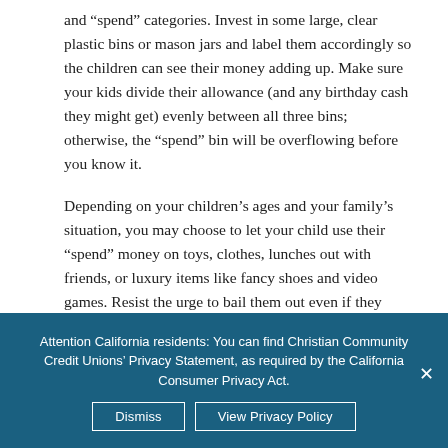and “spend” categories. Invest in some large, clear plastic bins or mason jars and label them accordingly so the children can see their money adding up. Make sure your kids divide their allowance (and any birthday cash they might get) evenly between all three bins; otherwise, the “spend” bin will be overflowing before you know it.
Depending on your children’s ages and your family’s situation, you may choose to let your child use their “spend” money on toys, clothes, lunches out with friends, or luxury items like fancy shoes and video games. Resist the urge to bail them out even if they spend unwisely; a pricey pair of jeans
Attention California residents: You can find Christian Community Credit Unions’ Privacy Statement, as required by the California Consumer Privacy Act.